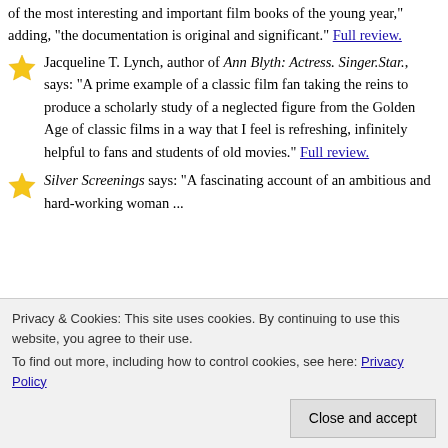of the most interesting and important film books of the young year," adding, "the documentation is original and significant." Full review.
Jacqueline T. Lynch, author of Ann Blyth: Actress. Singer.Star., says: "A prime example of a classic film fan taking the reins to produce a scholarly study of a neglected figure from the Golden Age of classic films in a way that I feel is refreshing, infinitely helpful to fans and students of old movies." Full review.
Silver Screenings says: "A fascinating account of an ambitious and hard-working woman ...
Any fan of the collectible Citadel Films or book series
Privacy & Cookies: This site uses cookies. By continuing to use this website, you agree to their use. To find out more, including how to control cookies, see here: Privacy Policy